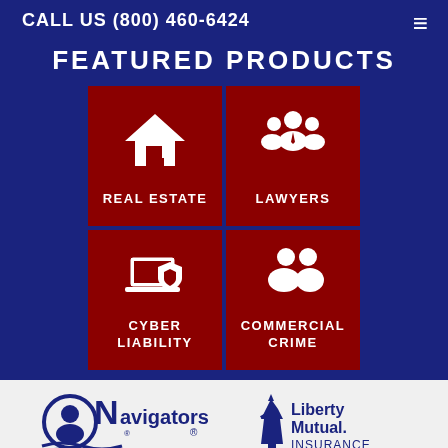CALL US (800) 460-6424
FEATURED PRODUCTS
[Figure (infographic): 2x2 grid of featured insurance product tiles on dark blue background. Top-left: red tile with house icon labeled REAL ESTATE. Top-right: red tile with group of people icon labeled LAWYERS. Bottom-left: red tile with laptop and shield icon labeled CYBER LIABILITY. Bottom-right: red tile with two people icon labeled COMMERCIAL CRIME.]
[Figure (logo): Navigators Insurance logo with text 'Insuring a World in Motion']
[Figure (logo): Liberty Mutual Insurance logo]